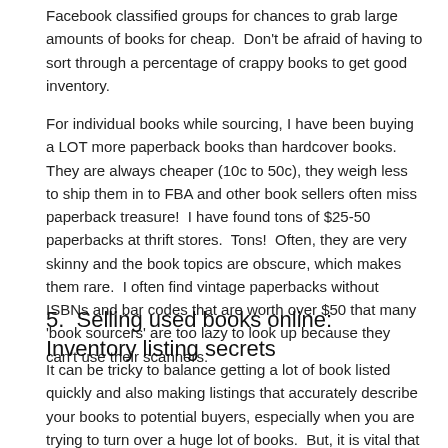Facebook classified groups for chances to grab large amounts of books for cheap.  Don't be afraid of having to sort through a percentage of crappy books to get good inventory.
For individual books while sourcing, I have been buying a LOT more paperback books than hardcover books.  They are always cheaper (10c to 50c), they weigh less to ship them in to FBA and other book sellers often miss paperback treasure!  I have found tons of $25-50 paperbacks at thrift stores.  Tons!  Often, they are very skinny and the book topics are obscure, which makes them rare.  I often find vintage paperbacks without ISBNs and bar codes that are worth over $50 that many 'book sourcers' are too lazy to look up because they can't use their scanners.
5.  Selling used books online:  Inventory listing secrets
It can be tricky to balance getting a lot of book listed quickly and also making listings that accurately describe your books to potential buyers, especially when you are trying to turn over a huge lot of books.  But, it is vital that your books are listed correctly, or you risk negative feedback and item returns.  When you are starting out, 1-2 negative